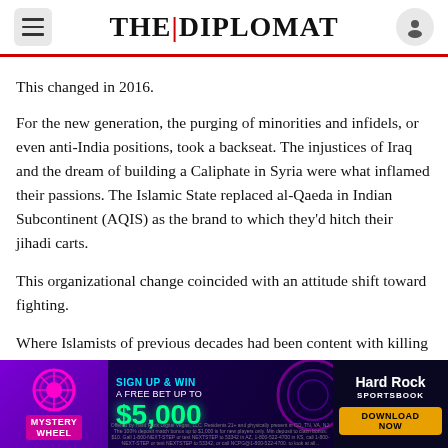THE DIPLOMAT
This changed in 2016.
For the new generation, the purging of minorities and infidels, or even anti-India positions, took a backseat. The injustices of Iraq and the dream of building a Caliphate in Syria were what inflamed their passions. The Islamic State replaced al-Qaeda in Indian Subcontinent (AQIS) as the brand to which they’d hitch their jihadi carts.
This organizational change coincided with an attitude shift toward fighting.
Where Islamists of previous decades had been content with killing in the name of religion, the
[Figure (screenshot): Hard Rock Sportsbook advertisement banner: Mystery Wheel - Sign up and win a free bet up to $5,000 - Download Now button]